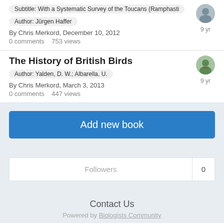Subtitle: With a Systematic Survey of the Toucans (Ramphasti
Author: Jürgen Haffer
By Chris Merkord, December 10, 2012
0 comments   753 views
The History of British Birds
Author: Yalden, D. W.; Albarella, U.
By Chris Merkord, March 3, 2013
0 comments   447 views
Add new book
Followers   0
Contact Us
Powered by Biologists Community